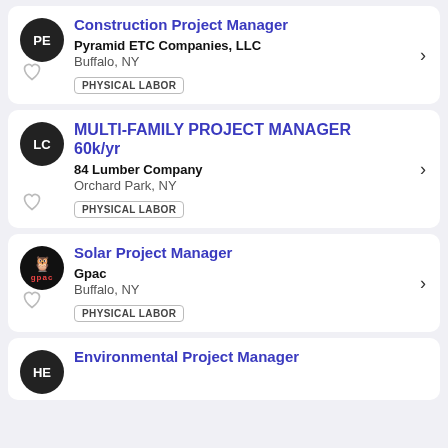Construction Project Manager — Pyramid ETC Companies, LLC — Buffalo, NY — PHYSICAL LABOR
MULTI-FAMILY PROJECT MANAGER 60k/yr — 84 Lumber Company — Orchard Park, NY — PHYSICAL LABOR
Solar Project Manager — Gpac — Buffalo, NY — PHYSICAL LABOR
Environmental Project Manager